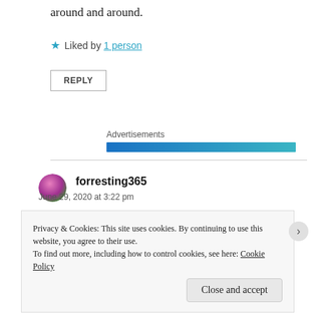around and around.
★ Liked by 1 person
REPLY
Advertisements
forresting365
June 29, 2020 at 3:22 pm
Privacy & Cookies: This site uses cookies. By continuing to use this website, you agree to their use.
To find out more, including how to control cookies, see here: Cookie Policy
Close and accept